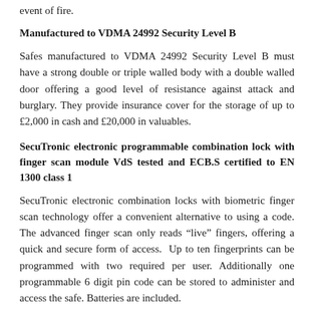event of fire.
Manufactured to VDMA 24992 Security Level B
Safes manufactured to VDMA 24992 Security Level B must have a strong double or triple walled body with a double walled door offering a good level of resistance against attack and burglary. They provide insurance cover for the storage of up to £2,000 in cash and £20,000 in valuables.
SecuTronic electronic programmable combination lock with finger scan module VdS tested and ECB.S certified to EN 1300 class 1
SecuTronic electronic combination locks with biometric finger scan technology offer a convenient alternative to using a code. The advanced finger scan only reads “live” fingers, offering a quick and secure form of access. Up to ten fingerprints can be programmed with two required per user. Additionally one programmable 6 digit pin code can be stored to administer and access the safe. Batteries are included.